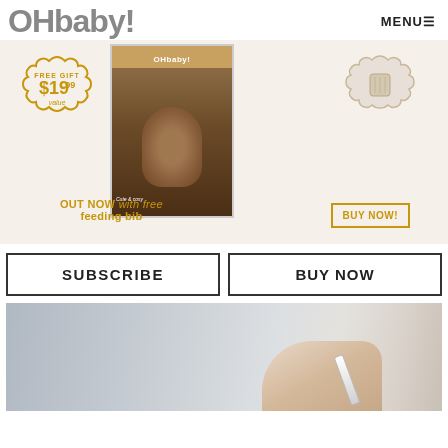OHbaby! MENU≡
[Figure (illustration): OHbaby! magazine promotional banner. Features scallop-edged badge showing FREE GIFT $19.99 value in gold, magazine cover with baby in brown bear outfit, a beige scallop-edged shape showing a bib on the right, text 'OUT NOW with free feeding bib' and a 'BUY NOW!' button.]
SUBSCRIBE
BUY NOW
[Figure (photo): Close-up photo of person in grey t-shirt holding a pregnancy test.]